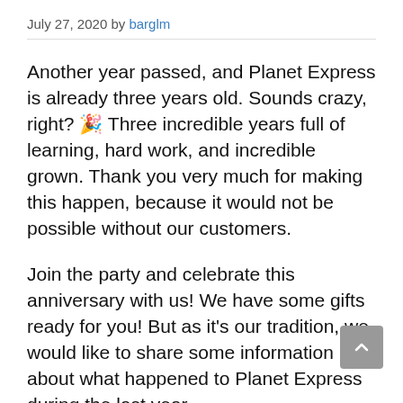July 27, 2020 by barglm
Another year passed, and Planet Express is already three years old. Sounds crazy, right? 🎉 Three incredible years full of learning, hard work, and incredible grown. Thank you very much for making this happen, because it would not be possible without our customers.
Join the party and celebrate this anniversary with us! We have some gifts ready for you! But as it's our tradition, we would like to share some information about what happened to Planet Express during the last year.